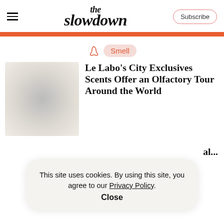the slowdown — Subscribe
Smell
Le Labo's City Exclusives Scents Offer an Olfactory Tour Around the World
This site uses cookies. By using this site, you agree to our Privacy Policy. Close